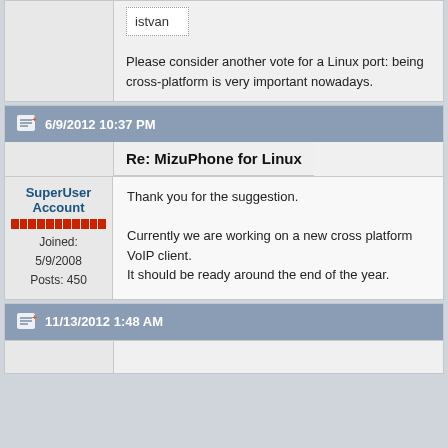istvan
Please consider another vote for a Linux port: being cross-platform is very important nowadays.
6/9/2012 10:37 PM
Re: MizuPhone for Linux
SuperUser Account
Joined: 5/9/2008
Posts: 450
Thank you for the suggestion.

Currently we are working on a new cross platform VoIP client.
It should be ready around the end of the year.
11/13/2012 1:48 AM